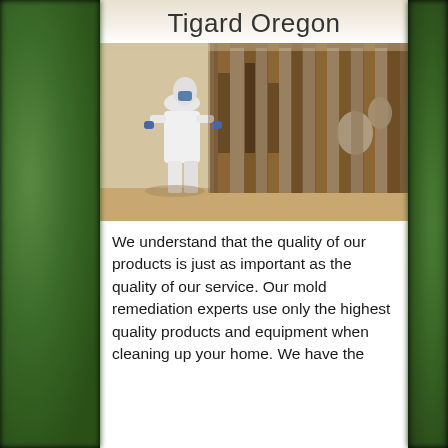Tigard Oregon
[Figure (photo): A mold remediation worker in a white hazmat/Tyvek suit and blue gloves working on a heavily mold-damaged wall with exposed studs and insulation, removing mold from wall surfaces in a basement or utility room.]
We understand that the quality of our products is just as important as the quality of our service. Our mold remediation experts use only the highest quality products and equipment when cleaning up your home. We have the